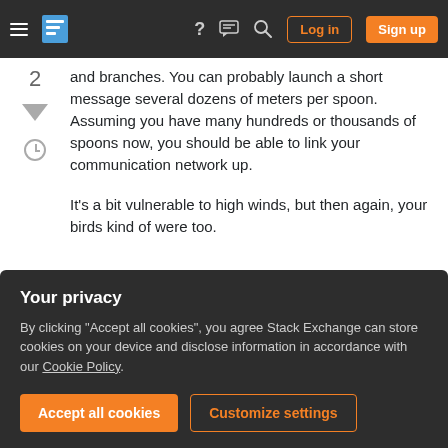Stack Exchange navigation header with hamburger menu, logo, help, chat, search icons, Log in and Sign up buttons
and branches. You can probably launch a short message several dozens of meters per spoon. Assuming you have many hundreds or thousands of spoons now, you should be able to link your communication network up.
It's a bit vulnerable to high winds, but then again, your birds kind of were too.
Share   Improve this answer
answered Aug 10, 2018 at 18:01  Wayne Werner
Your privacy
By clicking "Accept all cookies", you agree Stack Exchange can store cookies on your device and disclose information in accordance with our Cookie Policy.
Accept all cookies   Customize settings
If your kingdom has strong magic, a little alchemy to